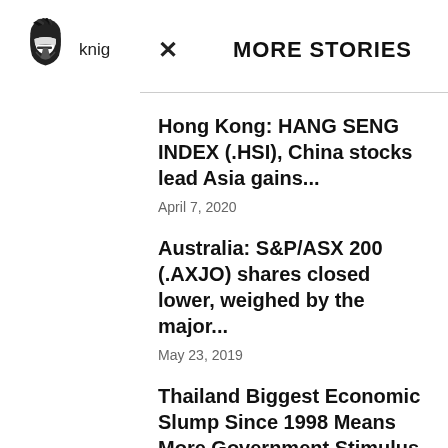[Figure (logo): Knight helmet logo in black and white]
knig
MORE STORIES
Hong Kong: HANG SENG INDEX (.HSI), China stocks lead Asia gains...
April 7, 2020
Australia: S&P/ASX 200 (.AXJO) shares closed lower, weighed by the major...
May 23, 2019
Thailand Biggest Economic Slump Since 1998 Means More Government Stimulus
August 17, 2020